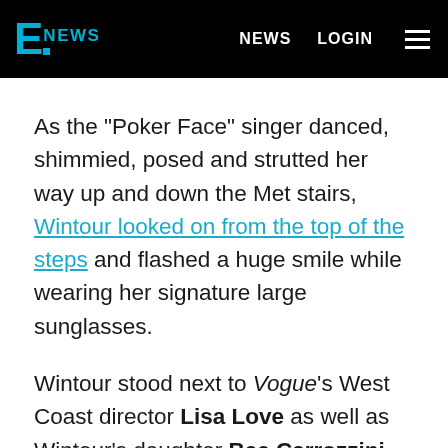E NEWS   NEWS   LOGIN
As the "Poker Face" singer danced, shimmied, posed and strutted her way up and down the Met stairs, Wintour looked on from the top of the steps and flashed a huge smile while wearing her signature large sunglasses.
Wintour stood next to Vogue's West Coast director Lisa Love as well as Wintour's daughter Bee Carrozzini. Carrozzini was even on a FaceTime call at that very moment and showed Gaga's huge